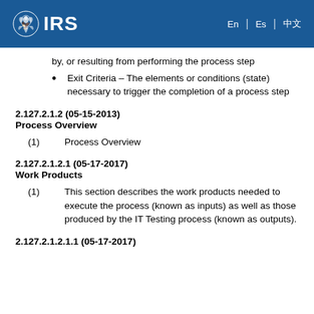IRS
by, or resulting from performing the process step
Exit Criteria – The elements or conditions (state) necessary to trigger the completion of a process step
2.127.2.1.2 (05-15-2013)
Process Overview
(1)    Process Overview
2.127.2.1.2.1 (05-17-2017)
Work Products
(1)    This section describes the work products needed to execute the process (known as inputs) as well as those produced by the IT Testing process (known as outputs).
2.127.2.1.2.1.1 (05-17-2017)